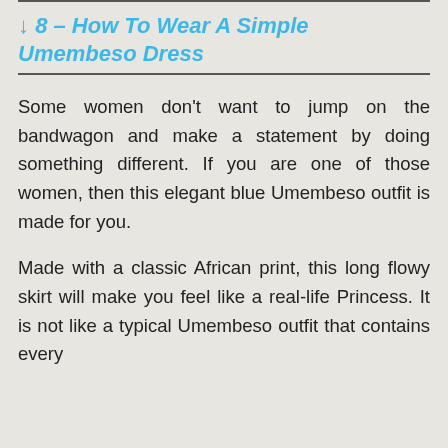↓ 8 – How To Wear A Simple Umembeso Dress
Some women don't want to jump on the bandwagon and make a statement by doing something different. If you are one of those women, then this elegant blue Umembeso outfit is made for you.
Made with a classic African print, this long flowy skirt will make you feel like a real-life Princess. It is not like a typical Umembeso outfit that contains every